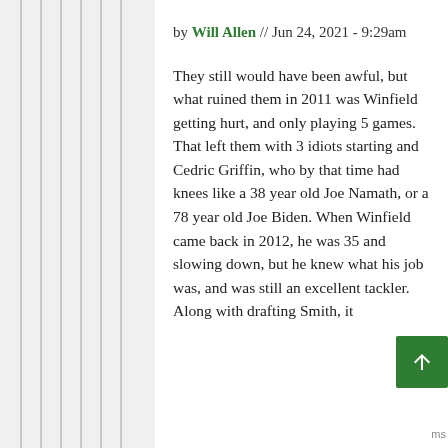by Will Allen // Jun 24, 2021 - 9:29am
They still would have been awful, but what ruined them in 2011 was Winfield getting hurt, and only playing 5 games. That left them with 3 idiots starting and Cedric Griffin, who by that time had knees like a 38 year old Joe Namath, or a 78 year old Joe Biden. When Winfield came back in 2012, he was 35 and slowing down, but he knew what his job was, and was still an excellent tackler. Along with drafting Smith, it